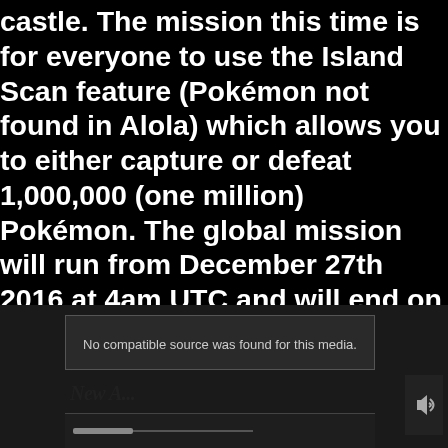castle. The mission this time is for everyone to use the Island Scan feature (Pokémon not found in Alola) which allows you to either capture or defeat 1,000,000 (one million) Pokémon. The global mission will run from December 27th 2016 at 4am UTC and will end on January 9th 11:59pm UTC. If the goal is reached everyone will receive 4,034 Festival Coins, but if it ends up failing players will only receive 434 Festival Coins. For those that haven't linked a PGL, you will receive 2,017 Festival Coins if successful with the mission, but if not only 217 coins will be distributed.
[Figure (screenshot): Video player placeholder showing 'No compatible source was found for this media.' with partial text visible at the bottom reading 'New...' and a speaker/audio icon on the right side.]